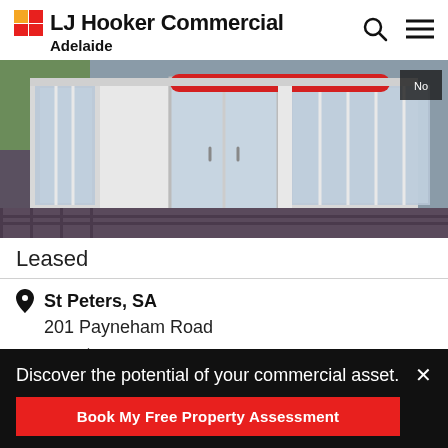LJ Hooker Commercial Adelaide
[Figure (photo): Wide-angle street-level photo of a commercial retail storefront with large glass windows and doors, brick pavement, with a red banner visible at the top of the image]
Leased
St Peters, SA
201 Payneham Road
Leased on 18 Jun 2020
Discover the potential of your commercial asset.
Book My Free Property Assessment